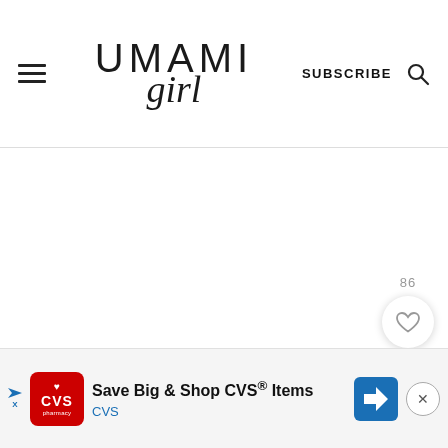UMAMI girl — SUBSCRIBE
[Figure (screenshot): White content area below header, mostly blank white space]
[Figure (infographic): Floating circular buttons: heart/save button with count 86, and green search button]
[Figure (infographic): CVS pharmacy advertisement banner at bottom: Save Big & Shop CVS® Items / CVS]